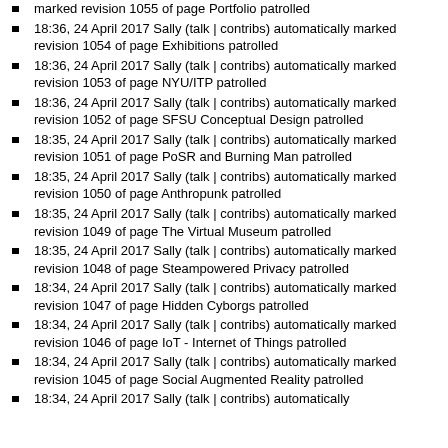marked revision 1055 of page Portfolio patrolled
18:36, 24 April 2017 Sally (talk | contribs) automatically marked revision 1054 of page Exhibitions patrolled
18:36, 24 April 2017 Sally (talk | contribs) automatically marked revision 1053 of page NYU/ITP patrolled
18:36, 24 April 2017 Sally (talk | contribs) automatically marked revision 1052 of page SFSU Conceptual Design patrolled
18:35, 24 April 2017 Sally (talk | contribs) automatically marked revision 1051 of page PoSR and Burning Man patrolled
18:35, 24 April 2017 Sally (talk | contribs) automatically marked revision 1050 of page Anthropunk patrolled
18:35, 24 April 2017 Sally (talk | contribs) automatically marked revision 1049 of page The Virtual Museum patrolled
18:35, 24 April 2017 Sally (talk | contribs) automatically marked revision 1048 of page Steampowered Privacy patrolled
18:34, 24 April 2017 Sally (talk | contribs) automatically marked revision 1047 of page Hidden Cyborgs patrolled
18:34, 24 April 2017 Sally (talk | contribs) automatically marked revision 1046 of page IoT - Internet of Things patrolled
18:34, 24 April 2017 Sally (talk | contribs) automatically marked revision 1045 of page Social Augmented Reality patrolled
18:34, 24 April 2017 Sally (talk | contribs) automatically marked revision 1044 of page Mixed Tech Blended Art patrolled